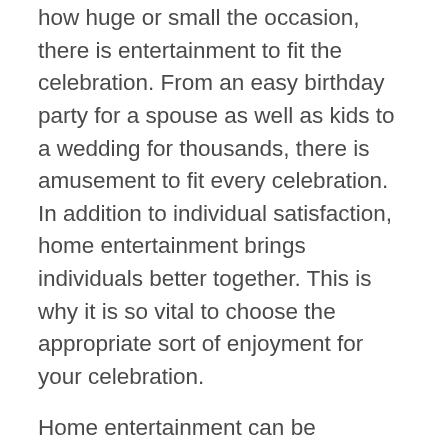how huge or small the occasion, there is entertainment to fit the celebration. From an easy birthday party for a spouse as well as kids to a wedding for thousands, there is amusement to fit every celebration. In addition to individual satisfaction, home entertainment brings individuals better together. This is why it is so vital to choose the appropriate sort of enjoyment for your celebration.
Home entertainment can be available in numerous kinds, including exercise, music, as well as art. Public and also exclusive tasks have developed over the centuries, as well as enjoyment can take the kind of any one of these activities. While there are some changes, many types of entertainment stay remarkably secure in time, adapting to different media, societies, and also way of lives. Some tasks, such as archery as well as fence, have actually